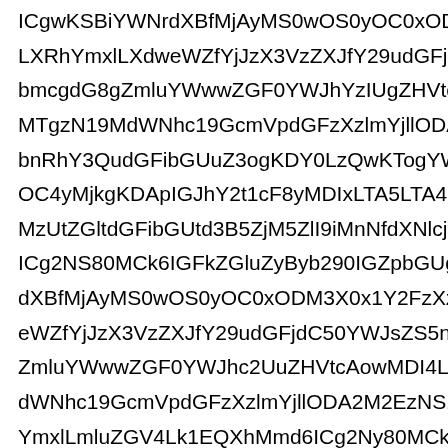ICgwKSBiYWNrdXBfMjAyMS0wOS0yOC0xODM3X0
LXRhYmxlLXdweWZfYjJzX3VzZXJfY29udGFjdC50WV
bmcgdG8gZmluYWwwZGF0YWJhYzIUgZHVtcAowMD
MTgzN19MdWNhc19GcmVpdGFzXzlmYjllODA2M2E
bnRhY3QudGFibGUuZ3ogKDY0LzQwKTogYWRkaW5
OC4yMjkgKDApIGJhY2t1cF8yMDIxLTA5LTA4LTE4Mz
MzUtZGltdGFibGUtd3B5ZjM5ZAAI9iMnNfdXNlcjluZXR3b3
ICg2NS80MCk6IGFkZGluZyByb290IGZpbGUgdG8geml
dXBfMjAyMS0wOS0yOC0xODM3X0x1Y2FzXzlmYjle
eWZfYjJzX3VzZXJfY29udGFjdC50YWJsZS5neiA1OW
ZmluYWwwZGF0YWJhc2UuZHVtcAowMDI4LjM5ODk0
dWNhc19GcmVpdGFzXzlmYjllODA2M2EzNS1kaW10
YmxlLmluZGV4Lk1EQXhMmd6ICg2Ny80MCk6IGFkZGlu
MjguMzc3MjkgKDApIGJhY2t1cF8yMDIxLTA5LTA5LO
WTM1LWRpbXRhYmxlLXdweWZiG9naW5fYXR0ZW1wdC4
YTM1LWRpbXRhYmxlLXdweWZbG1aXNIRvIGZpbGUgdG8
MjguMzc3MjkgKDApIGJhY2t1cF8yMDIxLTA5LTA5LO